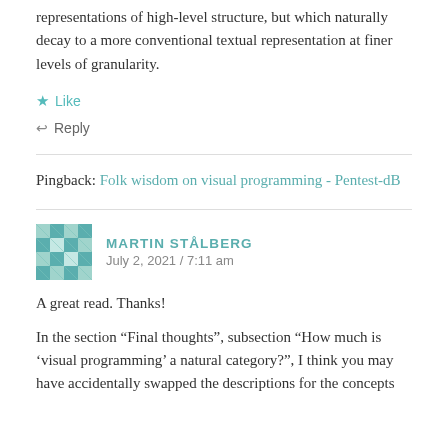representations of high-level structure, but which naturally decay to a more conventional textual representation at finer levels of granularity.
★ Like
↩ Reply
Pingback: Folk wisdom on visual programming - Pentest-dB
MARTIN STÅLBERG
July 2, 2021 / 7:11 am
A great read. Thanks!
In the section “Final thoughts”, subsection “How much is ‘visual programming’ a natural category?”, I think you may have accidentally swapped the descriptions for the concepts